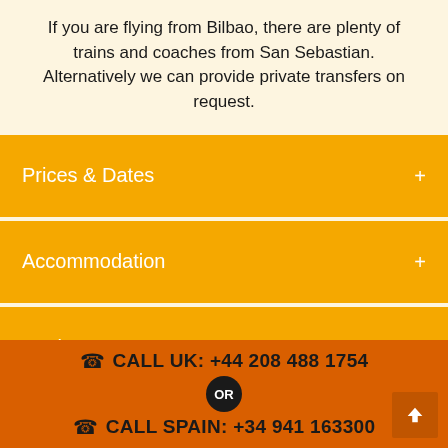If you are flying from Bilbao, there are plenty of trains and coaches from San Sebastian. Alternatively we can provide private transfers on request.
Prices & Dates
Accommodation
Reviews
CALL UK: +44 208 488 1754 OR CALL SPAIN: +34 941 163300